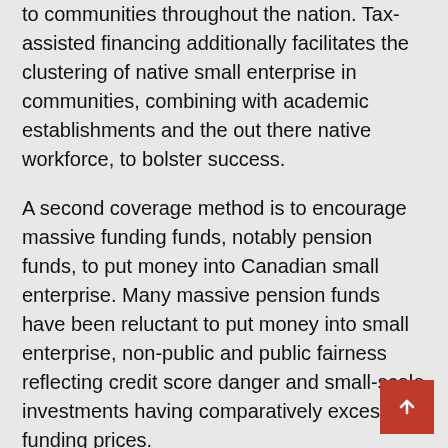to communities throughout the nation. Tax-assisted financing additionally facilitates the clustering of native small enterprise in communities, combining with academic establishments and the out there native workforce, to bolster success.
A second coverage method is to encourage massive funding funds, notably pension funds, to put money into Canadian small enterprise. Many massive pension funds have been reluctant to put money into small enterprise, non-public and public fairness reflecting credit score danger and small-scale investments having comparatively excessive funding prices.
The federal authorities might mandate